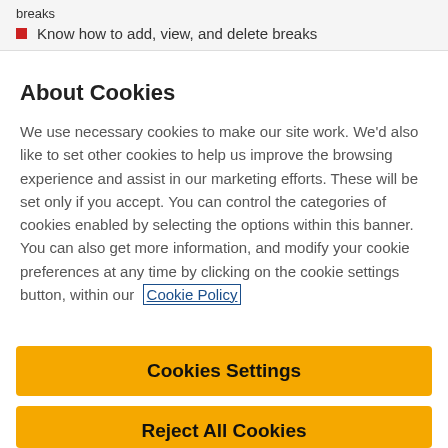breaks
Know how to add, view, and delete breaks
About Cookies
We use necessary cookies to make our site work. We'd also like to set other cookies to help us improve the browsing experience and assist in our marketing efforts. These will be set only if you accept. You can control the categories of cookies enabled by selecting the options within this banner. You can also get more information, and modify your cookie preferences at any time by clicking on the cookie settings button, within our Cookie Policy
Cookies Settings
Reject All Cookies